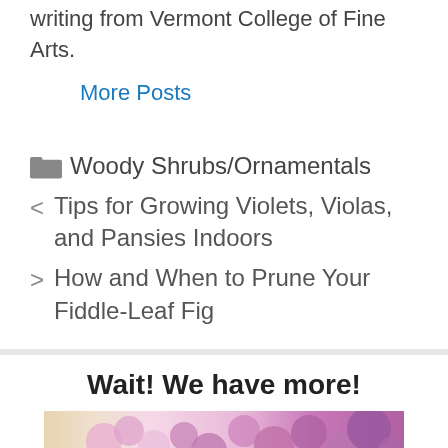writing from Vermont College of Fine Arts.
More Posts
Woody Shrubs/Ornamentals
< Tips for Growing Violets, Violas, and Pansies Indoors
> How and When to Prune Your Fiddle-Leaf Fig
Wait! We have more!
[Figure (photo): Photo of pink/purple lilac flowers]